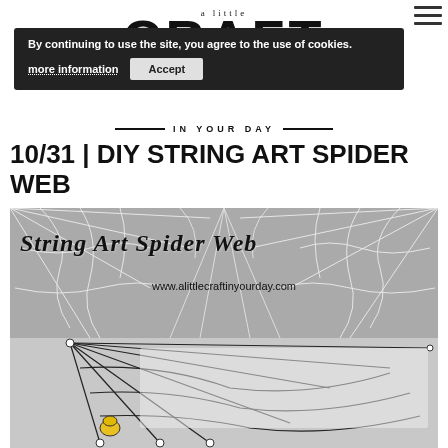a little CRAFT IN YOUR DAY
By continuing to use the site, you agree to the use of cookies. more information  Accept
10/31 | DIY STRING ART SPIDER WEB
[Figure (photo): String Art Spider Web craft image showing white spider web designs on grey background with text 'String Art Spider Web' and 'www.alittlecraftinyourday.com', and a physical string art spider web with a yellow spider below]